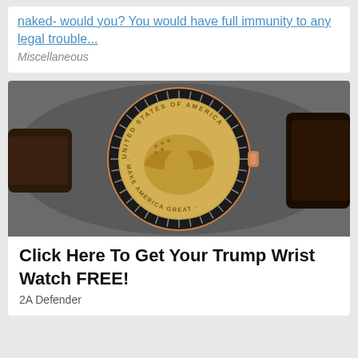naked- would you? You would have full immunity to any legal trouble...
Miscellaneous
[Figure (photo): Close-up photo of a wristwatch with a gold coin-style face showing an eagle and text reading 'UNITED STATES OF AMERICA', 'MAKE AMERICA GREAT', 'NIVY', with a dark brown leather strap and rose gold case.]
Click Here To Get Your Trump Wrist Watch FREE!
2A Defender